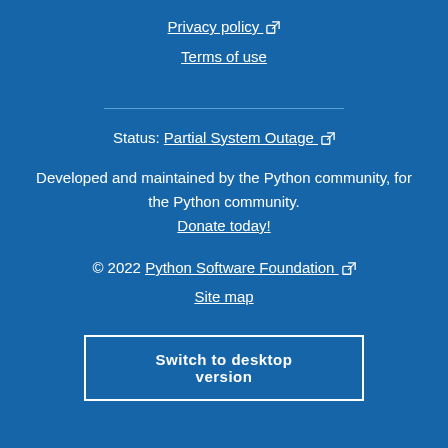Privacy policy [external link]
Terms of use
Status: Partial System Outage [external link]
Developed and maintained by the Python community, for the Python community.
Donate today!
© 2022 Python Software Foundation [external link]
Site map
Switch to desktop version